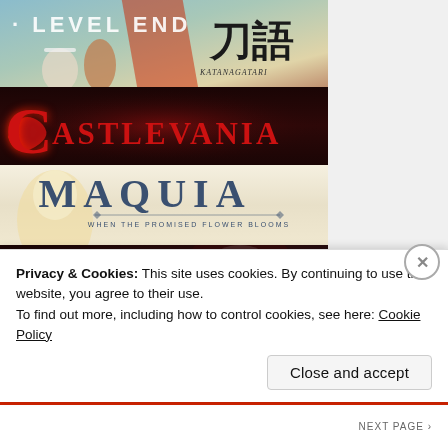[Figure (illustration): Anime-style illustration banner for 'Level End' / Katanagatari featuring characters with Japanese kanji text]
[Figure (illustration): Castlevania logo/title card with large red gothic lettering on dark background]
[Figure (illustration): Maquia: When the Promised Flower Blooms title card with light background and blue serif lettering]
[Figure (illustration): OX:ARM anime title card with orange graffiti-style lettering on dark background with character]
Privacy & Cookies: This site uses cookies. By continuing to use this website, you agree to their use.
To find out more, including how to control cookies, see here: Cookie Policy
Close and accept